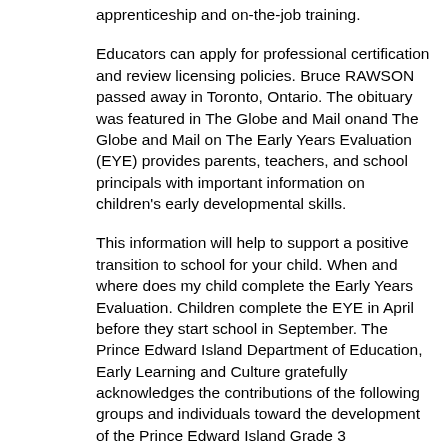apprenticeship and on-the-job training.
Educators can apply for professional certification and review licensing policies. Bruce RAWSON passed away in Toronto, Ontario. The obituary was featured in The Globe and Mail onand The Globe and Mail on The Early Years Evaluation (EYE) provides parents, teachers, and school principals with important information on children's early developmental skills.
This information will help to support a positive transition to school for your child. When and where does my child complete the Early Years Evaluation. Children complete the EYE in April before they start school in September. The Prince Edward Island Department of Education, Early Learning and Culture gratefully acknowledges the contributions of the following groups and individuals toward the development of the Prince Edward Island Grade 3 Mathematics Curriculum Guide: The following specialists from the Prince Edward Island Department of Education, Early.
Prince Edward Island Islander indifference to Confederation. It it contains three school...